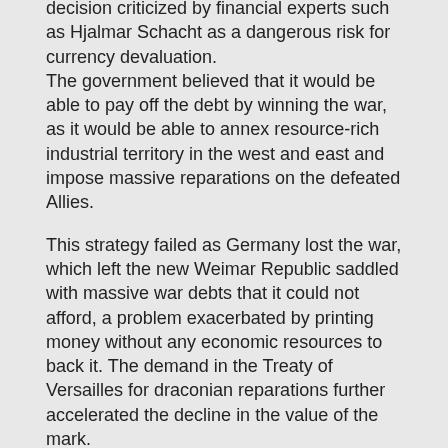decision criticized by financial experts such as Hjalmar Schacht as a dangerous risk for currency devaluation. The government believed that it would be able to pay off the debt by winning the war, as it would be able to annex resource-rich industrial territory in the west and east and impose massive reparations on the defeated Allies.
This strategy failed as Germany lost the war, which left the new Weimar Republic saddled with massive war debts that it could not afford, a problem exacerbated by printing money without any economic resources to back it. The demand in the Treaty of Versailles for draconian reparations further accelerated the decline in the value of the mark.
Ultimately this led to hyperinflation of the mark in 1921-23
In response to this dire situation, Hitler decided to create debt free money. Hitler and the National Socialists, who came to power in 1933, thwarted the international banking cartel by issuing their own money. One billion non-inflationary bills of exchange, called Labor Treasury Certificates, were then issued against this cost. This money was then paid to the German workforce for work actually carried out, that was the spent into the German economy.